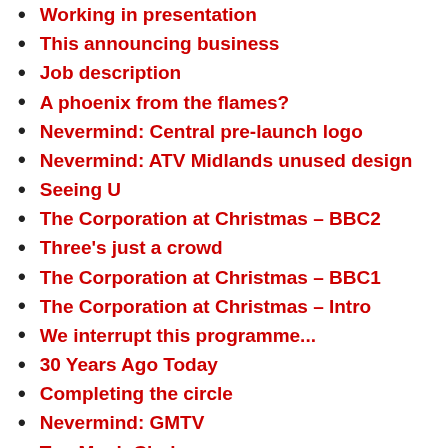Working in presentation
This announcing business
Job description
A phoenix from the flames?
Nevermind: Central pre-launch logo
Nevermind: ATV Midlands unused design
Seeing U
The Corporation at Christmas – BBC2
Three's just a crowd
The Corporation at Christmas – BBC1
The Corporation at Christmas – Intro
We interrupt this programme...
30 Years Ago Today
Completing the circle
Nevermind: GMTV
Too Much Choice
Compromising the brand
All new nonsense
Discontinuing...